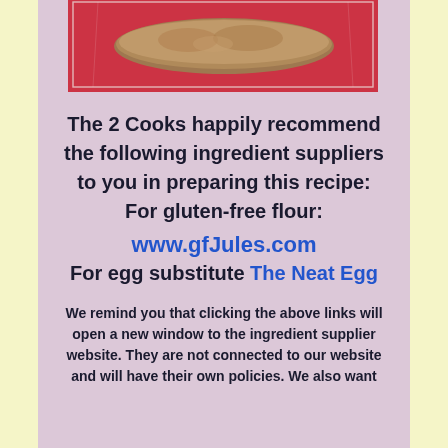[Figure (photo): Photo of a baked good item in a clear plastic bag on a red surface, partially visible at top of page]
The 2 Cooks happily recommend the following ingredient suppliers to you in preparing this recipe: For gluten-free flour: www.gfJules.com For egg substitute The Neat Egg
We remind you that clicking the above links will open a new window to the ingredient supplier website. They are not connected to our website and will have their own policies. We also want